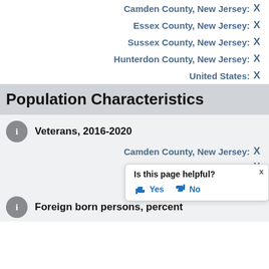Camden County, New Jersey: X
Essex County, New Jersey: X
Sussex County, New Jersey: X
Hunterdon County, New Jersey: X
United States: X
Population Characteristics
Veterans, 2016-2020
Camden County, New Jersey: X
Essex County, New Jersey: X
Sussex County, New Jersey: X
Hunterdon County, New Jersey: X
United States: X
Foreign born persons, percent
Is this page helpful? Yes No